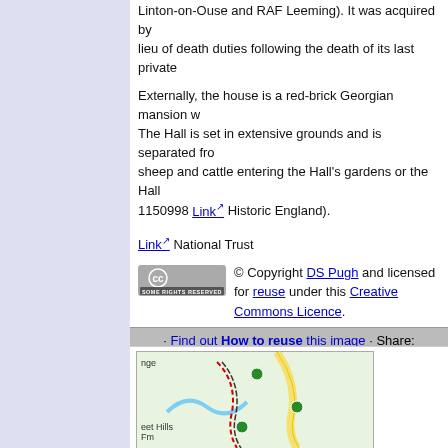Linton-on-Ouse and RAF Leeming). It was acquired by ... lieu of death duties following the death of its last private ...
Externally, the house is a red-brick Georgian mansion w... The Hall is set in extensive grounds and is separated fro... sheep and cattle entering the Hall's gardens or the Hall ... 1150998 Link Historic England).
Link National Trust
[Figure (logo): Creative Commons Some Rights Reserved badge]
© Copyright DS Pugh and licensed for reuse under this Creative Commons Licence.
· Find out How to reuse this image · Share: [Twitter] [Facebook] [Pinterest] [Flipboard] [Email] · Download Image ·
Start a discussion on SE5158
Suggest an update to this image
Contact the contributor
[Figure (map): Ordnance Survey style map showing roads, hills, and green dots for photo locations near SE5158]